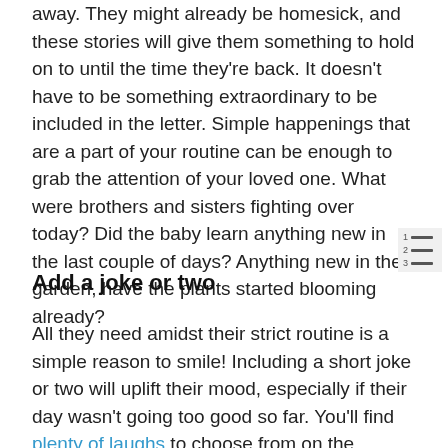away. They might already be homesick, and these stories will give them something to hold on to until the time they're back. It doesn't have to be something extraordinary to be included in the letter. Simple happenings that are a part of your routine can be enough to grab the attention of your loved one. What were brothers and sisters fighting over today? Did the baby learn anything new in the last couple of days? Anything new in the garden, have the plants started blooming already?
Add a joke or two
All they need amidst their strict routine is a simple reason to smile! Including a short joke or two will uplift their mood, especially if their day wasn't going too good so far. You'll find plenty of laughs to choose from on the internet. Pick something short and funny, and just copy-paste it to your letter.